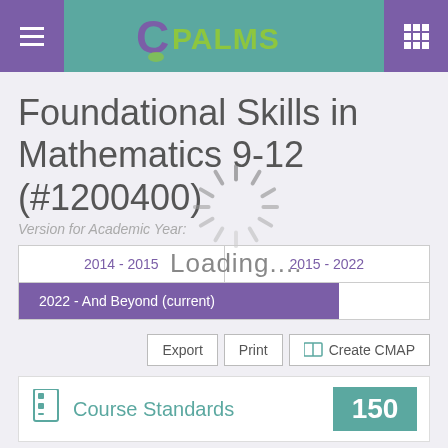CPALMS
Foundational Skills in Mathematics 9-12 (#1200400)
Version for Academic Year:
| 2014 - 2015 | 2015 - 2022 |
| --- | --- |
| 2022 - And Beyond (current) |  |
[Figure (infographic): Loading spinner with 'Loading....' text overlay]
Export  Print  🗺 Create CMAP
Course Standards  150